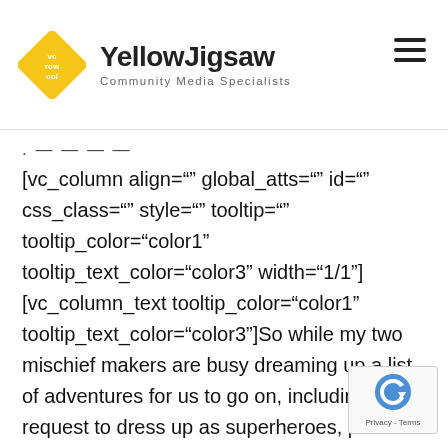YellowJigsaw Community Media Specialists
[vc_column align="" global_atts="" id="" css_class="" style="" tooltip="" tooltip_color="color1" tooltip_text_color="color3" width="1/1"] [vc_column_text tooltip_color="color1" tooltip_text_color="color3"]So while my two mischief makers are busy dreaming up a list of adventures for us to go on, including a request to dress up as superheroes, paint our faces, fight dragons and go fishing, I worrying about how I am going to have any